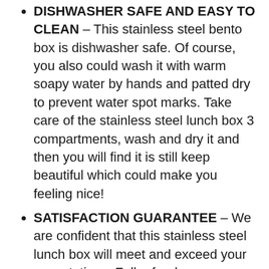DISHWASHER SAFE AND EASY TO CLEAN – This stainless steel bento box is dishwasher safe. Of course, you also could wash it with warm soapy water by hands and patted dry to prevent water spot marks. Take care of the stainless steel lunch box 3 compartments, wash and dry it and then you will find it is still keep beautiful which could make you feeling nice!
SATISFACTION GUARANTEE – We are confident that this stainless steel lunch box will meet and exceed your expectations. Full refund or replacement is available if you are not 100% satisfied.